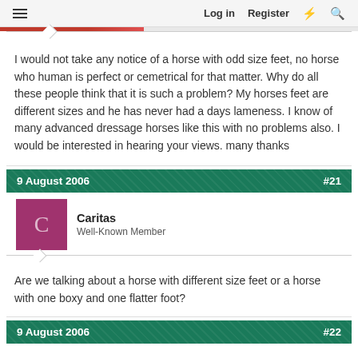Log in  Register
I would not take any notice of a horse with odd size feet, no horse who human is perfect or cemetrical for that matter. Why do all these people think that it is such a problem? My horses feet are different sizes and he has never had a days lameness. I know of many advanced dressage horses like this with no problems also. I would be interested in hearing your views. many thanks
9 August 2006  #21
Caritas
Well-Known Member
Are we talking about a horse with different size feet or a horse with one boxy and one flatter foot?
9 August 2006  #22